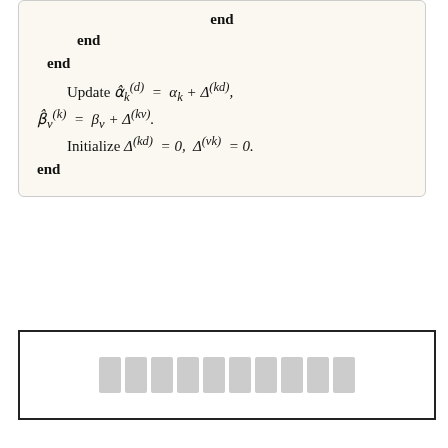end
end
end
end
[Figure (other): A white box with a dark gray drop shadow containing placeholder gray rectangle blocks representing redacted or placeholder content.]